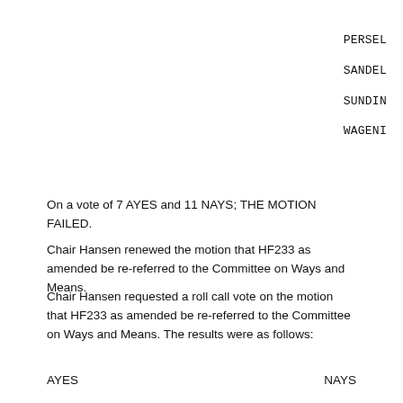PERSEL
SANDEL
SUNDIN
WAGENI
On a vote of 7 AYES and 11 NAYS; THE MOTION FAILED.
Chair Hansen renewed the motion that HF233 as amended be re-referred to the Committee on Ways and Means.
Chair Hansen requested a roll call vote on the motion that HF233 as amended be re-referred to the Committee on Ways and Means. The results were as follows:
AYES                                                    NAYS